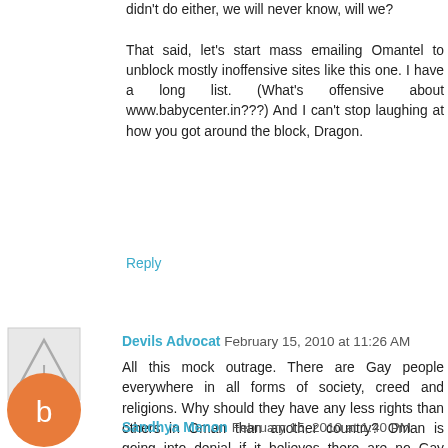didn't do either, we will never know, will we?

That said, let's start mass emailing Omantel to unblock mostly inoffensive sites like this one. I have a long list. (What's offensive about www.babycenter.in???) And I can't stop laughing at how you got around the block, Dragon.
Reply
Devils Advocat  February 15, 2010 at 11:26 AM
All this mock outrage. There are Gay people everywhere in all forms of society, creed and religions. Why should they have any less rights than others in Oman than another country? Oman is going into denial if it believes there are no Gay people or groups.

Who is responsible for such decisions and hypocricy?
Reply
Sandhya Menon  February 15, 2010 at 1:40 PM